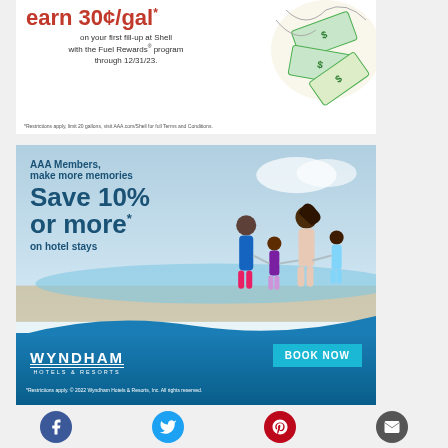[Figure (illustration): Shell/AAA Fuel Rewards advertisement: 'earn 30¢/gal* on your first fill-up at Shell with the Fuel Rewards® program through 12/31/23.' with flying money illustration. Footnote: '*Restrictions apply, limit 20 gallons, visit AAA.com/Shell for full Terms and Conditions.']
[Figure (illustration): Wyndham Hotels & Resorts AAA Member advertisement: 'AAA Members, make more memories. Save 10% or more* on hotel stays.' with family running on beach photo, Wyndham Hotels & Resorts logo, BOOK NOW button, and footnote '*Restrictions apply. © 2022 Wyndham Hotels & Resorts, Inc. All rights reserved.']
[Figure (infographic): Row of four social sharing icon buttons: Facebook (blue circle), Twitter (cyan circle), Pinterest (red circle), Email (dark gray circle)]